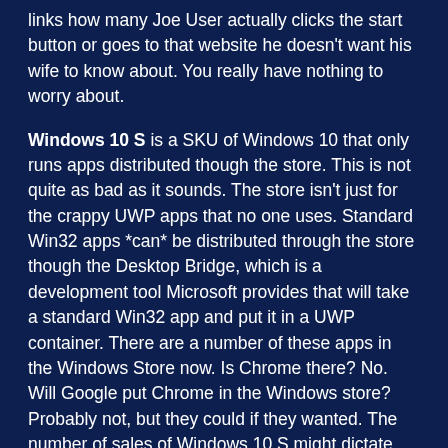links how many Joe User actually clicks the start button or goes to that website he doesn't want his wife to know about. You really have nothing to worry about.
Windows 10 S is a SKU of Windows 10 that only runs apps distributed though the store. This is not quite as bad as it sounds. The store isn't just for the crappy UWP apps that no one uses. Standard Win32 apps *can* be distributed through the store though the Desktop Bridge, which is a development tool Microsoft provides that will take a standard Win32 app and put it in a UWP container. There are a number of these apps in the Windows Store now. Is Chrome there? No. Will Google put Chrome in the Windows store? Probably not, but they could if they wanted. The number of sales of Windows 10 S might dictate whether they do. Microsoft will be putting the "real" office Suite in the Windows store in this Desktop Bridge technology, so any app can end up there if a developer chooses to do it. Windows 10 S does have a couple limitations. The default browser will be locked to Edge. While that's not a huge issue now since there are no other browsers that are any good in the Windows Store, if Firefox or Opera or Chrome end up in the store that could annoy people. The default search engine in Edge is also locked to Bing.